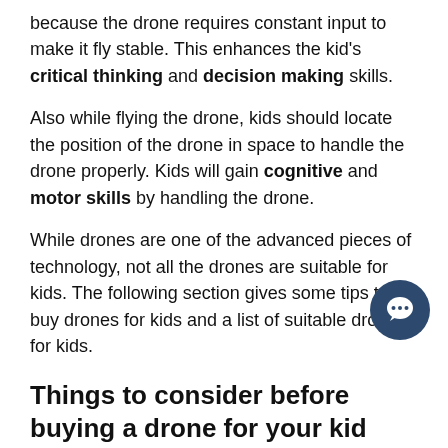because the drone requires constant input to make it fly stable. This enhances the kid's critical thinking and decision making skills.
Also while flying the drone, kids should locate the position of the drone in space to handle the drone properly. Kids will gain cognitive and motor skills by handling the drone.
While drones are one of the advanced pieces of technology, not all the drones are suitable for kids. The following section gives some tips to buy drones for kids and a list of suitable drones for kids.
Things to consider before buying a drone for your kid
Drones with prop guards will not only protect the propellers, but it also saves your kid and others from getting injured.
Charging time and Battery life of the drone plays a crucial